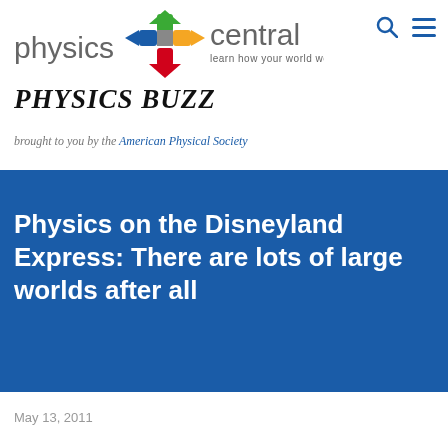physics central — learn how your world works | Physics Buzz
brought to you by the American Physical Society
Physics on the Disneyland Express: There are lots of large worlds after all
May 13, 2011